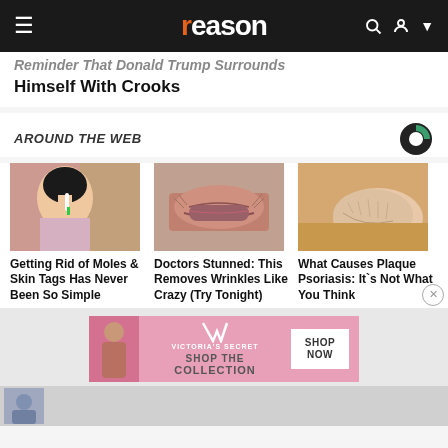reason
Reminder That Donald Trump Surrounds Himself With Crooks
AROUND THE WEB
[Figure (photo): Person applying cream to nose with brush]
Getting Rid of Moles & Skin Tags Has Never Been So Simple
[Figure (photo): Close-up of elderly person's wrinkled mouth area]
Doctors Stunned: This Removes Wrinkles Like Crazy (Try Tonight)
[Figure (photo): Close-up of dry cracked heel skin]
What Causes Plaque Psoriasis: It`s Not What You Think
[Figure (photo): Victoria's Secret advertisement banner - Shop The Collection]
VICTORIA'S SECRET · SHOP THE COLLECTION · SHOP NOW